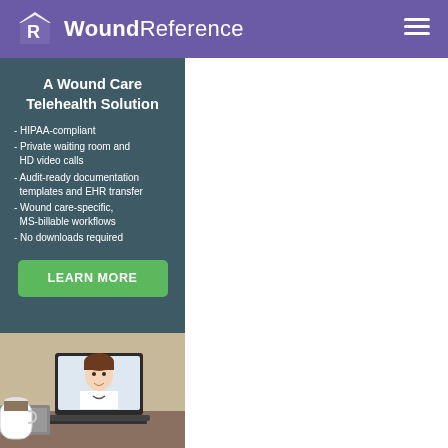WoundReference
A Wound Care Telehealth Solution
- HIPAA-compliant
- Private waiting room and HD video calls
- Audit-ready documentation templates and EHR transfer
- Wound care-specific, MS-billable workflows
- No downloads required
LEARN MORE
[Figure (photo): A female doctor/healthcare professional shown on a laptop screen, wearing a white coat and stethoscope, sitting at a desk with a keyboard and coffee cup visible.]